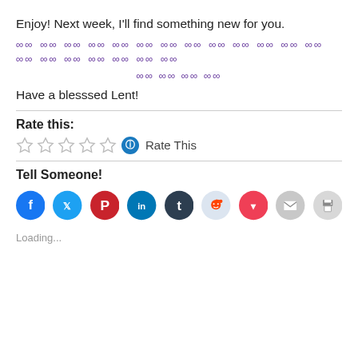Enjoy! Next week, I'll find something new for you.
[Figure (other): Two rows of infinity symbols (∞) in purple, forming a decorative divider]
Have a blesssed Lent!
Rate this:
[Figure (other): Five empty star rating icons followed by a blue info icon and text 'Rate This']
Tell Someone!
[Figure (other): Social sharing buttons: Facebook, Twitter, Pinterest, LinkedIn, Tumblr, Reddit, Pocket, Email, Print]
Loading...